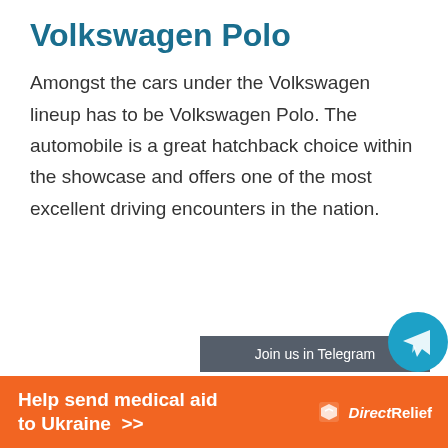Volkswagen Polo
Amongst the cars under the Volkswagen lineup has to be Volkswagen Polo. The automobile is a great hatchback choice within the showcase and offers one of the most excellent driving encounters in the nation.
[Figure (other): Telegram channel join button partially visible, cut off at bottom of page]
[Figure (other): Direct Relief advertisement banner: orange background with text 'Help send medical aid to Ukraine >>' and DirectRelief logo]